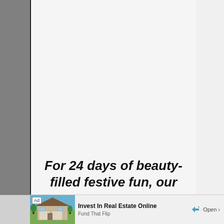For 24 days of beauty-filled festive fun, our
[Figure (illustration): Advertisement banner showing a house with 'Invest In Real Estate Online' text, Fund That Flip subtitle, and Open button]